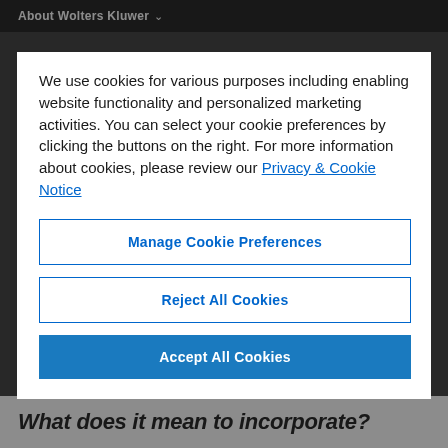About Wolters Kluwer
We use cookies for various purposes including enabling website functionality and personalized marketing activities. You can select your cookie preferences by clicking the buttons on the right. For more information about cookies, please review our Privacy & Cookie Notice
Manage Cookie Preferences
Reject All Cookies
Accept All Cookies
What does it mean to incorporate?